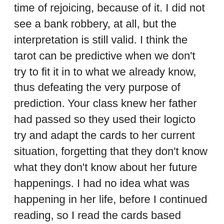time of rejoicing, because of it. I did not see a bank robbery, at all, but the interpretation is still valid. I think the tarot can be predictive when we don't try to fit it in to what we already know, thus defeating the very purpose of prediction. Your class knew her father had passed so they used their logicto try and adapt the cards to her current situation, forgetting that they don't know what they don't know about her future happenings. I had no idea what was happening in her life, before I continued reading, so I read the cards based strictly on what came to mind. The cards have always been very predictive to me because I read what I see, or what I'm told by the Divine, not what I know about that person. That's my take anyway. Thanks for sharing this with your readers.